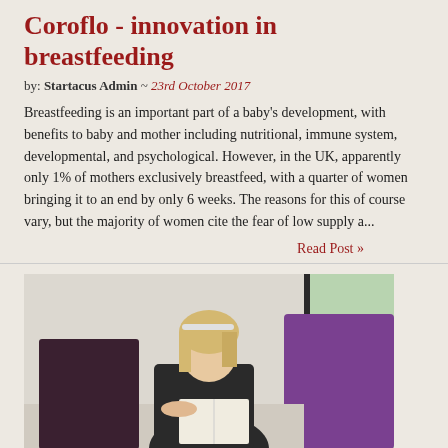Coroflo - innovation in breastfeeding
by: Startacus Admin ~ 23rd October 2017
Breastfeeding is an important part of a baby's development, with benefits to baby and mother including nutritional, immune system, developmental, and psychological. However, in the UK, apparently only 1% of mothers exclusively breastfeed, with a quarter of women bringing it to an end by only 6 weeks. The reasons for this of course vary, but the majority of women cite the fear of low supply a...
Read Post »
[Figure (photo): Woman with blonde hair sitting on a sofa with dark and purple cushions, reading, with a window visible in background]
Neurovalens set to disrupt